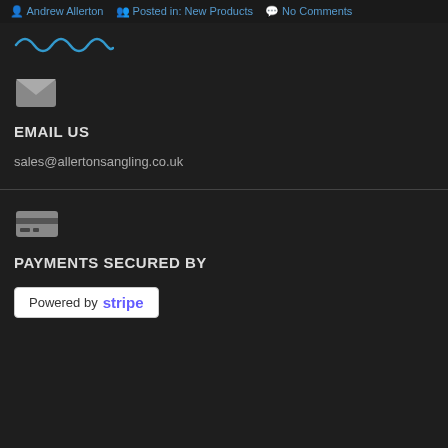Andrew Allerton   Posted in: New Products   No Comments
[Figure (illustration): Blue wavy line decoration / logo divider]
EMAIL US
sales@allertonsangling.co.uk
PAYMENTS SECURED BY
[Figure (logo): Powered by stripe badge — white rectangle with text 'Powered by stripe']